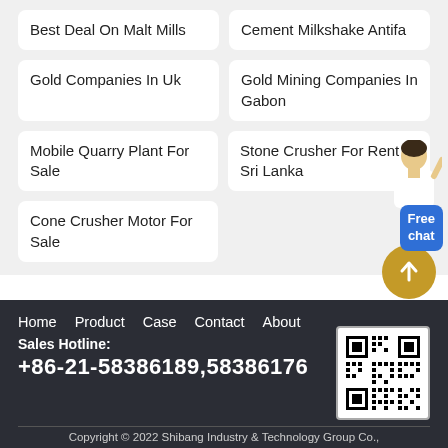Best Deal On Malt Mills
Cement Milkshake Antifa
Gold Companies In Uk
Gold Mining Companies In Gabon
Mobile Quarry Plant For Sale
Stone Crusher For Rent In Sri Lanka
Cone Crusher Motor For Sale
[Figure (illustration): Customer service person illustration with Free chat button]
[Figure (illustration): Scroll-to-top circular orange button with upward arrow]
Home   Product   Case   Contact   About
Sales Hotline:
+86-21-58386189,58386176
Copyright © 2022 Shibang Industry & Technology Group Co.,
[Figure (illustration): QR code for Shibang Industry & Technology Group Co.]